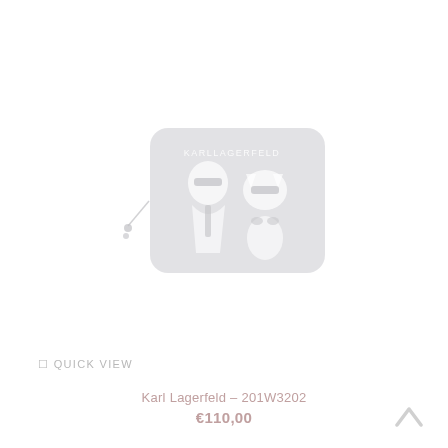[Figure (photo): Karl Lagerfeld wallet product image - a light grey/silver zippered wallet with Karl Lagerfeld and Choupette cat iconographic illustrations in white, with KARL LAGERFELD text at top. A small decorative charm hangs from the zipper pull on the left side.]
QUICK VIEW
Karl Lagerfeld – 201W3202
€110,00